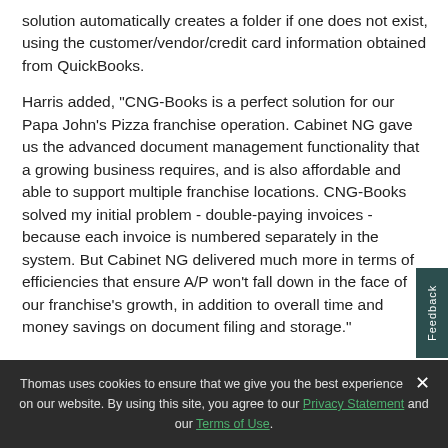solution automatically creates a folder if one does not exist, using the customer/vendor/credit card information obtained from QuickBooks.
Harris added, "CNG-Books is a perfect solution for our Papa John's Pizza franchise operation. Cabinet NG gave us the advanced document management functionality that a growing business requires, and is also affordable and able to support multiple franchise locations. CNG-Books solved my initial problem - double-paying invoices - because each invoice is numbered separately in the system. But Cabinet NG delivered much more in terms of efficiencies that ensure A/P won't fall down in the face of our franchise's growth, in addition to overall time and money savings on document filing and storage."
Thomas uses cookies to ensure that we give you the best experience on our website. By using this site, you agree to our Privacy Statement and our Terms of Use.